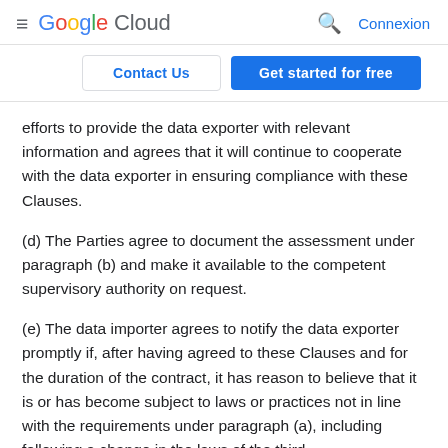≡ Google Cloud   🔍 Connexion
Contact Us   Get started for free
efforts to provide the data exporter with relevant information and agrees that it will continue to cooperate with the data exporter in ensuring compliance with these Clauses.
(d) The Parties agree to document the assessment under paragraph (b) and make it available to the competent supervisory authority on request.
(e) The data importer agrees to notify the data exporter promptly if, after having agreed to these Clauses and for the duration of the contract, it has reason to believe that it is or has become subject to laws or practices not in line with the requirements under paragraph (a), including following a change in the laws of the third